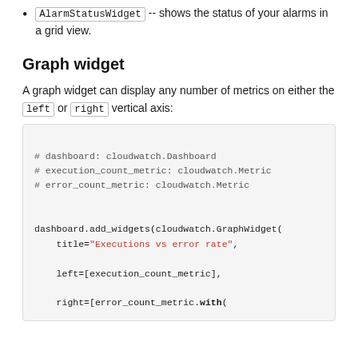AlarmStatusWidget -- shows the status of your alarms in a grid view.
Graph widget
A graph widget can display any number of metrics on either the left or right vertical axis:
# dashboard: cloudwatch.Dashboard
# execution_count_metric: cloudwatch.Metric
# error_count_metric: cloudwatch.Metric

dashboard.add_widgets(cloudwatch.GraphWidget(
    title="Executions vs error rate",

    left=[execution_count_metric],

    right=[error_count_metric.with(